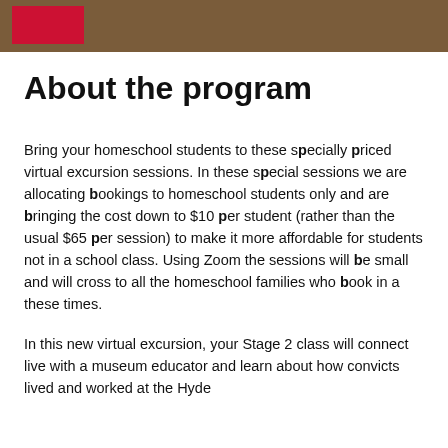[Figure (photo): Top banner image showing a reddish-brown textured background (earth/museum setting) with a red logo box in the top left corner.]
About the program
Bring your homeschool students to these specially priced virtual excursion sessions. In these special sessions we are allocating bookings to homeschool students only and are bringing the cost down to $10 per student (rather than the usual $65 per session) to make it more affordable for students not in a school class. Using Zoom the sessions will be small and will cross to all the homeschool families who book in a these times.
In this new virtual excursion, your Stage 2 class will connect live with a museum educator and learn about how convicts lived and worked at the Hyde